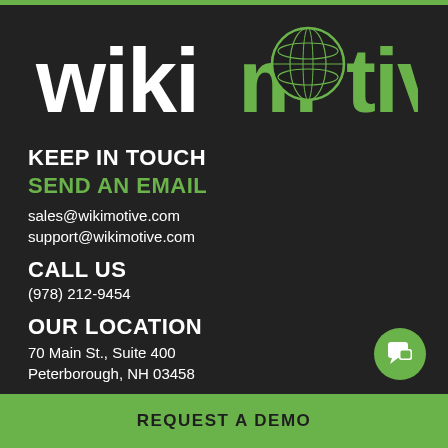[Figure (logo): Wikimotive logo: 'wiki' in white bold text and 'motive' in green bold text with a globe replacing the letter 'o', on dark background]
KEEP IN TOUCH
SEND AN EMAIL
sales@wikimotive.com
support@wikimotive.com
CALL US
(978) 212-9454
OUR LOCATION
70 Main St., Suite 400
Peterborough, NH 03458
Office Hours | 8:00am - 6:00pm EST Mon - Fri
REQUEST A DEMO